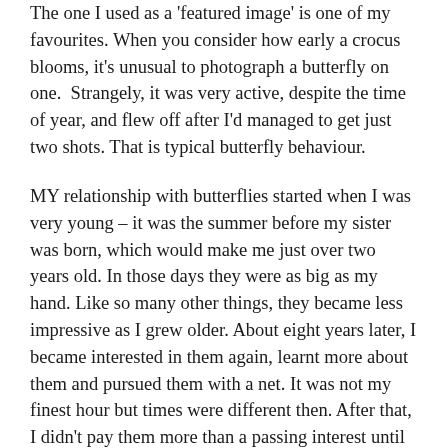The one I used as a 'featured image' is one of my favourites. When you consider how early a crocus blooms, it's unusual to photograph a butterfly on one.  Strangely, it was very active, despite the time of year, and flew off after I'd managed to get just two shots. That is typical butterfly behaviour.
MY relationship with butterflies started when I was very young – it was the summer before my sister was born, which would make me just over two years old. In those days they were as big as my hand. Like so many other things, they became less impressive as I grew older. About eight years later, I became interested in them again, learnt more about them and pursued them with a net. It was not my finest hour but times were different then. After that, I didn't pay them more than a passing interest until we started the Quercus project on the farm. Butterflies are easier to observe and photograph when you have a group of people behind you.
Nettle soup, as you may guess from the title, is also one of